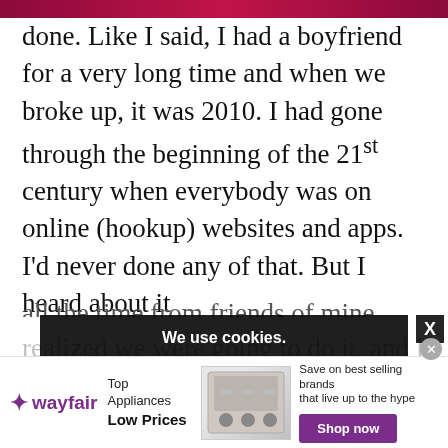[Figure (photo): Top strip showing partial image, dark red/maroon color bar at top]
done. Like I said, I had a boyfriend for a very long time and when we broke up, it was 2010. I had gone through the beginning of the 21st century when everybody was on online (hookup) websites and apps. I'd never done any of that. But I heard about it all the time from friends of mine. When I realized we were going to do it, and I was going to be 60 years old, I'm really...
We use cookies.
Yes, we use cookies to ensure we give you the best experience using this website.
By closing this box or clicking on the continue button, you agree to our terms of use and consent to the use of
[Figure (infographic): Wayfair advertisement banner: Top Appliances Low Prices, Shop now button, appliance image]